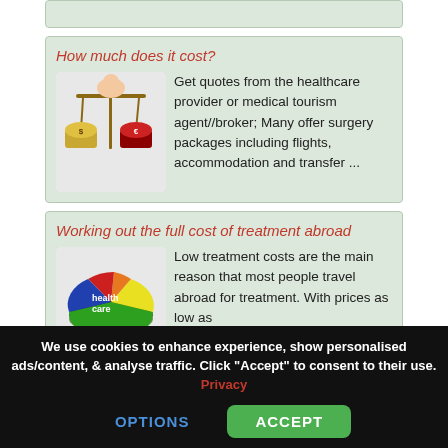[Figure (other): Top faded green card strip (partial, cut off at top)]
How much does it cost?
[Figure (photo): A hand holding a balance scale with rolled currency bills on each side]
Get quotes from the healthcare provider or medical tourism agent//broker; Many offer surgery packages including flights, accommodation and transfer ...
Working out the full cost of treatment abroad
[Figure (pie-chart): A 3D pie chart labeled 'health care' with blue, red, orange, yellow, and green segments]
Low treatment costs are the main reason that most people travel abroad for treatment. With prices as low as [cut off]
We use cookies to enhance experience, show personalised ads/content, & analyse traffic. Click "Accept" to consent to their use. Privacy
OPTIONS
ACCEPT